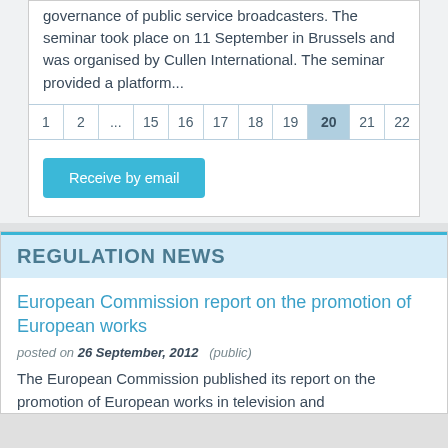governance of public service broadcasters. The seminar took place on 11 September in Brussels and was organised by Cullen International. The seminar provided a platform...
1
2
...
15
16
17
18
19
20
21
22
Receive by email
REGULATION NEWS
European Commission report on the promotion of European works
posted on 26 September, 2012   (public)
The European Commission published its report on the promotion of European works in television and